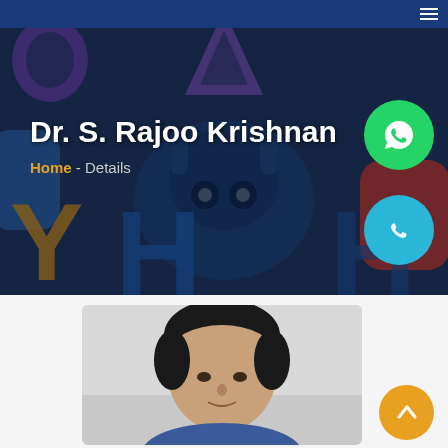Navigation bar with hamburger menu
Dr. S. Rajoo Krishnan
Home - Details
[Figure (photo): Hero background image showing colorful plastic letter/number toys in dark blue hues]
[Figure (illustration): WhatsApp call button - green circle with phone handset icon]
[Figure (illustration): Phone call button - cyan/blue circle with phone handset icon]
[Figure (photo): Portrait photo of Dr. S. Rajoo Krishnan, showing head and shoulders of a man with dark hair]
[Figure (illustration): Scroll-to-top button - golden/yellow circle with upward arrow icon]